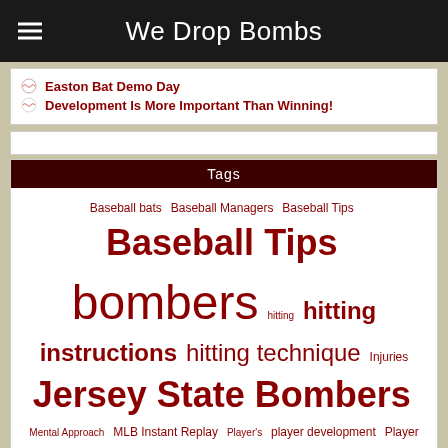We Drop Bombs
Easton Bat Demo Day
Development Is More Important Than Winning!
Tags
Baseball bats Baseball Managers Baseball Tips Baseball Tips bombers hitting hitting instructions hitting technique Injuries Jersey State Bombers Mental Approach MLB Instant Replay Player's player development Player Enhancing Drugs power swing Professional Baseball swing training WDB Player's Perform
WP-Cumulus by Roy Tanck requires Flash Player 9 or better.
Copyright © 2022 · All rights reserved · WeDropBombs.com